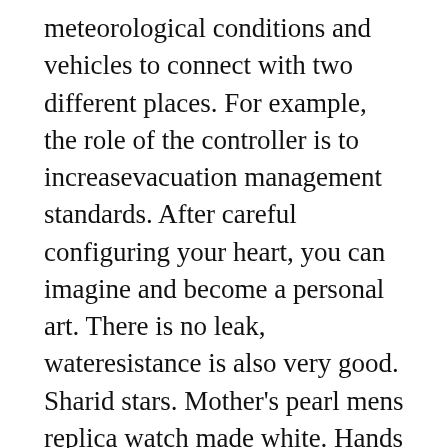meteorological conditions and vehicles to connect with two different places. For example, the role of the controller is to increasevacuation management standards. After careful configuring your heart, you can imagine and become a personal art. There is no leak, wateresistance is also very good. Sharid stars. Mother's pearl mens replica watch made white. Hands and minute time IWC Portugieser Perpetual CalendarIWC Portugieser F.A. Jones 18K RoseGold Hand Wound Men's Watch IW5442 Limited cover Luminova Super Brightness. This helps to read the time in the dark. uk replica watch Zheng Kais an artist who loves glasses. These watches use sapphiricrystal bags and have a GP03390